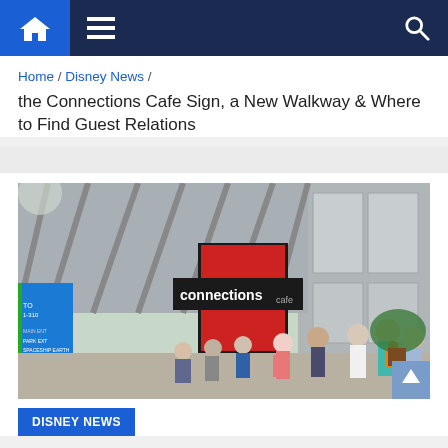Navigation bar with home, menu, and search icons
Home / Disney News /
the Connections Cafe Sign, a New Walkway & Where to Find Guest Relations
[Figure (photo): Outdoor photo of the Connections Cafe at EPCOT with crowds of park guests walking along a covered walkway; a blue signage panel is visible on the left and the Connections Cafe signage is visible on the building entrance]
DISNEY NEWS